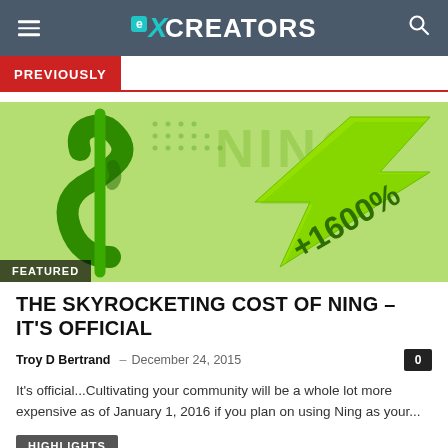eXCREATORS
PREVIOUSLY
[Figure (illustration): Green 3D dollar sign with green upward arrow labeled +1600% and NING text/dots pattern in background]
FEATURED
THE SKYROCKETING COST OF NING – IT'S OFFICIAL
Troy D Bertrand – December 24, 2015
It's official...Cultivating your community will be a whole lot more expensive as of January 1, 2016 if you plan on using Ning as your...
HIGHLIGHTS